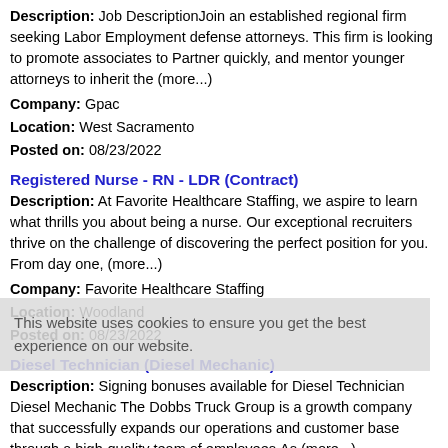Description: Job DescriptionJoin an established regional firm seeking Labor Employment defense attorneys. This firm is looking to promote associates to Partner quickly, and mentor younger attorneys to inherit the (more...)
Company: Gpac
Location: West Sacramento
Posted on: 08/23/2022
Registered Nurse - RN - LDR (Contract)
Description: At Favorite Healthcare Staffing, we aspire to learn what thrills you about being a nurse. Our exceptional recruiters thrive on the challenge of discovering the perfect position for you. From day one, (more...)
Company: Favorite Healthcare Staffing
Location: Woodland
Posted on: 08/23/2022
Diesel Technician (Diesel Mechanic)
Description: Signing bonuses available for Diesel Technician Diesel Mechanic The Dobbs Truck Group is a growth company that successfully expands our operations and customer base through a high-quality team of employees.As (more...)
Company: Dobbs Peterbilt
Location: West Sacramento